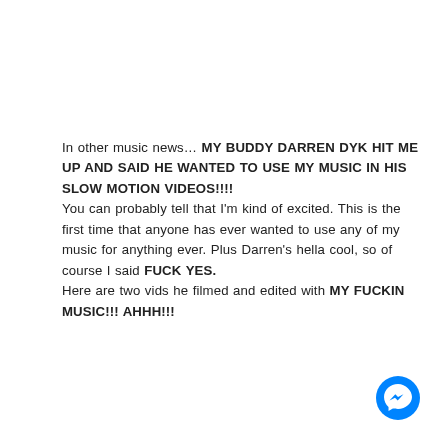In other music news… MY BUDDY DARREN DYK HIT ME UP AND SAID HE WANTED TO USE MY MUSIC IN HIS SLOW MOTION VIDEOS!!!!
You can probably tell that I'm kind of excited. This is the first time that anyone has ever wanted to use any of my music for anything ever. Plus Darren's hella cool, so of course I said FUCK YES.
Here are two vids he filmed and edited with MY FUCKIN MUSIC!!! AHHH!!!
[Figure (logo): Facebook Messenger icon — blue speech bubble with white lightning bolt]